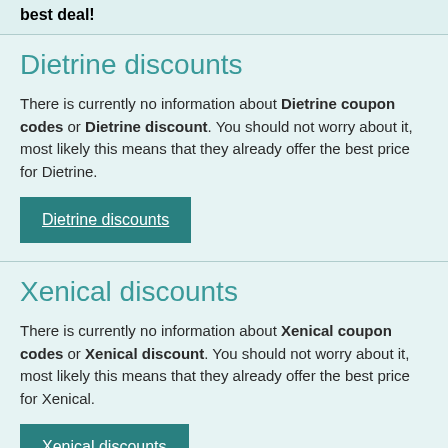best deal!
Dietrine discounts
There is currently no information about Dietrine coupon codes or Dietrine discount. You should not worry about it, most likely this means that they already offer the best price for Dietrine.
Dietrine discounts
Xenical discounts
There is currently no information about Xenical coupon codes or Xenical discount. You should not worry about it, most likely this means that they already offer the best price for Xenical.
Xenical discounts